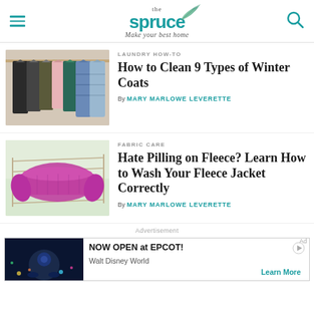the spruce — Make your best home
LAUNDRY HOW-TO
How to Clean 9 Types of Winter Coats
By MARY MARLOWE LEVERETTE
FABRIC CARE
Hate Pilling on Fleece? Learn How to Wash Your Fleece Jacket Correctly
By MARY MARLOWE LEVERETTE
Advertisement
NOW OPEN at EPCOT! Walt Disney World Learn More